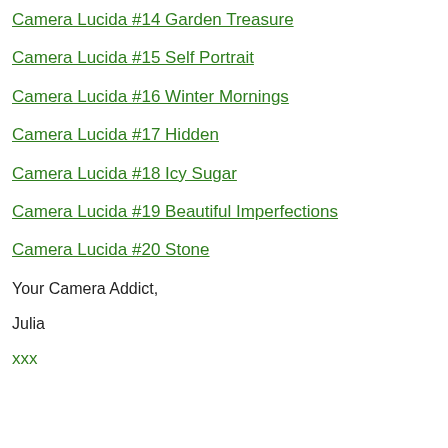Camera Lucida #14 Garden Treasure
Camera Lucida #15 Self Portrait
Camera Lucida #16 Winter Mornings
Camera Lucida #17 Hidden
Camera Lucida #18 Icy Sugar
Camera Lucida #19 Beautiful Imperfections
Camera Lucida #20 Stone
Your Camera Addict,
Julia
xxx